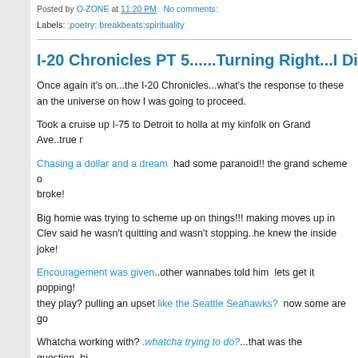Posted by O-ZONE at 11:20 PM   No comments:
Labels: ;poetry; breakbeats;spirituality
I-20 Chronicles PT 5......Turning Right...I Dipped U
Once again it's on...the I-20 Chronicles...what's the response to these an the universe on how I was going to proceed.
Took a cruise up I-75 to Detroit to holla at my kinfolk on Grand Ave..true r
Chasing a dollar and a dream  had some paranoid!! the grand scheme of broke!
Big homie was trying to scheme up on things!!! making moves up in Clev said he wasn't quitting and wasn't stopping..he knew the inside joke!
Encouragement was given..other wannabes told him  lets get it popping! they play? pulling an upset like the Seattle Seahawks?  now some are go
Whatcha working with? .whatcha trying to do?...that was the question..bi weed, and coke!
Word from Al Roker?   the weather is inclement..dudes home in Detroit w